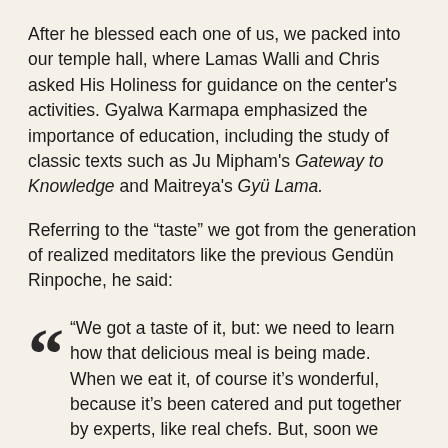After he blessed each one of us, we packed into our temple hall, where Lamas Walli and Chris asked His Holiness for guidance on the center's activities. Gyalwa Karmapa emphasized the importance of education, including the study of classic texts such as Ju Mipham's Gateway to Knowledge and Maitreya's Gyü Lama.
Referring to the “taste” we got from the generation of realized meditators like the previous Gendün Rinpoche, he said:
“We got a taste of it, but: we need to learn how that delicious meal is being made. When we eat it, of course it’s wonderful, because it’s been catered and put together by experts, like real chefs. But, soon we really realize that we need to learn how to make this